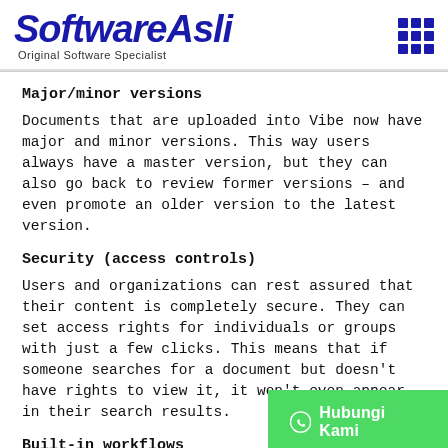[Figure (logo): SoftwareAsli logo with 'Original Software Specialist' tagline and a 3x3 grid icon]
Major/minor versions
Documents that are uploaded into Vibe now have major and minor versions. This way users always have a master version, but they can also go back to review former versions – and even promote an older version to the latest version.
Security (access controls)
Users and organizations can rest assured that their content is completely secure. They can set access rights for individuals or groups with just a few clicks. This means that if someone searches for a document but doesn't have rights to view it, it won't even appear in their search results.
Built-in workflows